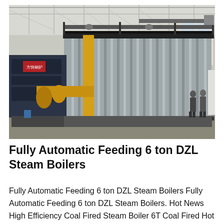[Figure (photo): Industrial boiler installation inside a large warehouse/factory. A large corrugated-metal-sided industrial boiler unit dominates the center and right side. On the left, dark-colored mechanical equipment (possibly another boiler) with yellow piping. A prominent yellow pipe runs vertically and bends horizontally in the foreground. Chinese text/logo visible on the equipment. Two workers/people standing at the far right. Large industrial overhead roof structure visible.]
Fully Automatic Feeding 6 ton DZL Steam Boilers
Fully Automatic Feeding 6 ton DZL Steam Boilers Fully Automatic Feeding 6 ton DZL Steam Boilers. Hot News High Efficiency Coal Fired Steam Boiler 6T Coal Fired Hot